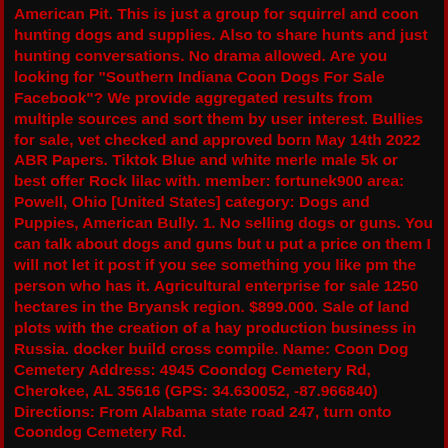American Pit. This is just a group for squirrel and coon hunting dogs and supplies. Also to share hunts and just hunting conversations. No drama allowed. Are you looking for "Southern Indiana Coon Dogs For Sale Facebook"? We provide aggregated results from multiple sources and sort them by user interest. Bullies for sale, vet checked and approved born May 14th 2022 ABR Papers. Tiktok Blue and white merle male 5k or best offer Rock lilac with. member: fortunek900 area: Powell, Ohio [United States] category: Dogs and Puppies, American Bully. 1. No selling dogs or guns. You can talk about dogs and guns but u put a price on them I will not let it post if you see something you like pm the person who has it. Agricultural enterprise for sale 1250 hectares in the Bryansk region. $899.000. Sale of land plots with the creation of a hay production business in Russia. docker build cross compile. Name: Coon Dog Cemetery Address: 4945 Coondog Cemetery Rd, Cherokee, AL 35616 (GPS: 34.630052, -87.966840) Directions: From Alabama state road 247, turn onto Coondog Cemetery Rd.